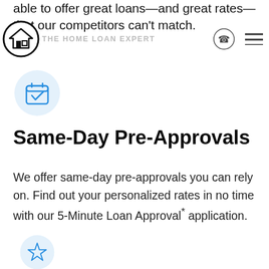able to offer great loans—and great rates—that our competitors can't match.
[Figure (logo): The Home Loan Expert logo — circular icon with house silhouette and nav bar with phone icon and hamburger menu]
[Figure (illustration): Light blue circle icon with a calendar and checkmark in blue outline style]
Same-Day Pre-Approvals
We offer same-day pre-approvals you can rely on. Find out your personalized rates in no time with our 5-Minute Loan Approval* application.
[Figure (illustration): Light blue circle icon with a star outline in blue style (partially visible at bottom)]